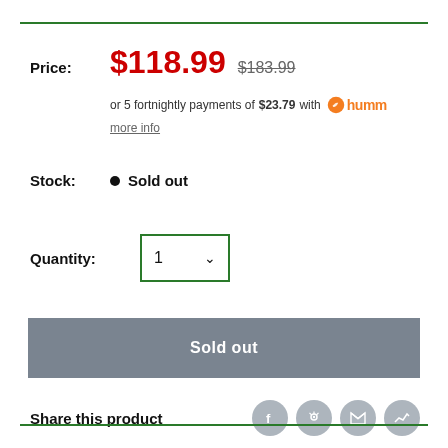Price: $118.99  $183.99
or 5 fortnightly payments of $23.79 with humm
more info
Stock: • Sold out
Quantity: 1
Sold out
Share this product